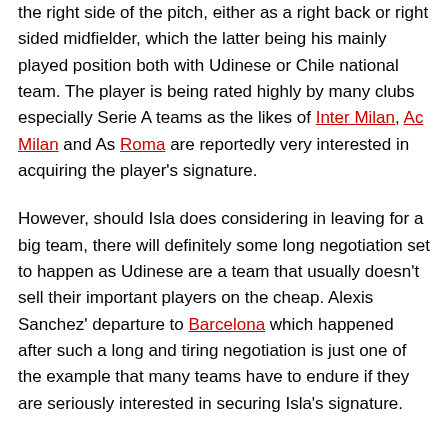...only 23, you possessed an excellent talent in playing in the right side of the pitch, either as a right back or right sided midfielder, which the latter being his mainly played position both with Udinese or Chile national team. The player is being rated highly by many clubs especially Serie A teams as the likes of Inter Milan, Ac Milan and As Roma are reportedly very interested in acquiring the player's signature.
However, should Isla does considering in leaving for a big team, there will definitely some long negotiation set to happen as Udinese are a team that usually doesn't sell their important players on the cheap. Alexis Sanchez' departure to Barcelona which happened after such a long and tiring negotiation is just one of the example that many teams have to endure if they are seriously interested in securing Isla's signature.